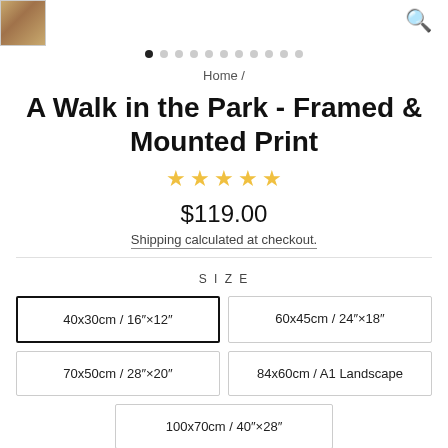[Figure (photo): Small thumbnail of framed art print in top left corner]
[Figure (other): Search magnifying glass icon in top right corner]
[Figure (other): Carousel dot navigation: first dot filled black, 10 dots grey]
Home /
A Walk in the Park - Framed & Mounted Print
★★★★★ (star rating, empty stars)
$119.00
Shipping calculated at checkout.
SIZE
40x30cm / 16"x12" (selected)
60x45cm / 24"x18"
70x50cm / 28"x20"
84x60cm / A1 Landscape
100x70cm / 40"x28"